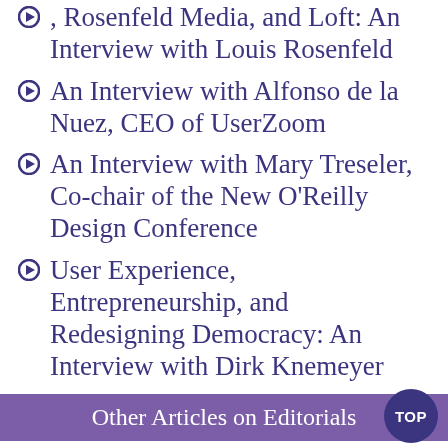..., Rosenfeld Media, and Loft: An Interview with Louis Rosenfeld
An Interview with Alfonso de la Nuez, CEO of UserZoom
An Interview with Mary Treseler, Co-chair of the New O'Reilly Design Conference
User Experience, Entrepreneurship, and Redesigning Democracy: An Interview with Dirk Knemeyer
Other Articles on Editorials
Reflections on Our Journey So Far
Please Respond to Our 2013 UXmatters Reader Survey
A Reminder to Participate in Our 2013